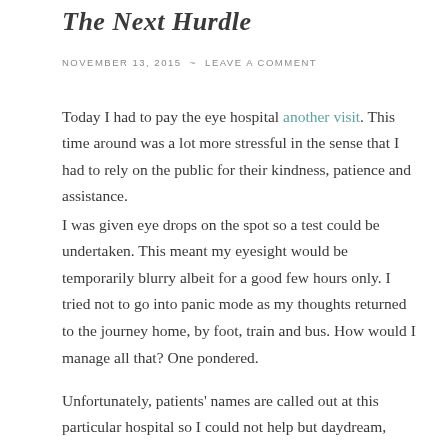The Next Hurdle
NOVEMBER 13, 2015 ~ LEAVE A COMMENT
Today I had to pay the eye hospital another visit. This time around was a lot more stressful in the sense that I had to rely on the public for their kindness, patience and assistance.
I was given eye drops on the spot so a test could be undertaken. This meant my eyesight would be temporarily blurry albeit for a good few hours only. I tried not to go into panic mode as my thoughts returned to the journey home, by foot, train and bus. How would I manage all that? One pondered.
Unfortunately, patients' names are called out at this particular hospital so I could not help but daydream, gazing at the floor, unable to focus on anyone around me. I found myself trying to